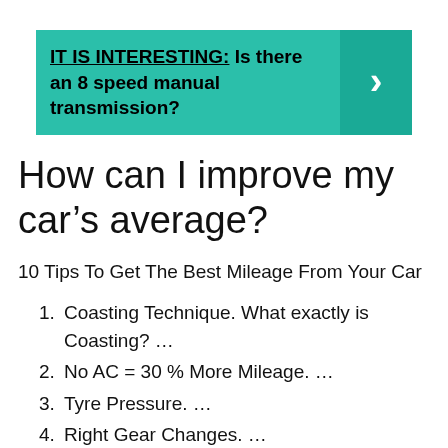[Figure (infographic): Teal banner with text 'IT IS INTERESTING: Is there an 8 speed manual transmission?' and a right-arrow chevron button on the right side.]
How can I improve my car’s average?
10 Tips To Get The Best Mileage From Your Car
Coasting Technique. What exactly is Coasting? …
No AC = 30 % More Mileage. …
Tyre Pressure. …
Right Gear Changes. …
Keep The Windows Shut. …
Plan Your Route Beforehand. …